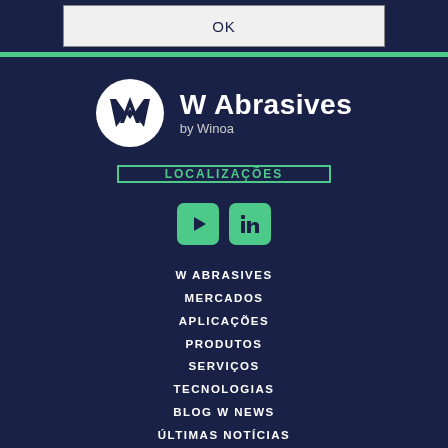OK
[Figure (logo): W Abrasives by Winoa logo — white circle with dark blue WA monogram, beside bold white text 'W Abrasives' and subtitle 'by Winoa']
LOCALIZAÇÕES
[Figure (other): Social media icons: YouTube (play button) and LinkedIn, both green rounded squares]
W ABRASIVES
MERCADOS
APLICAÇÕES
PRODUTOS
SERVIÇOS
TECNOLOGIAS
BLOG W NEWS
ÚLTIMAS NOTÍCIAS
ENTRE EM CONTATO